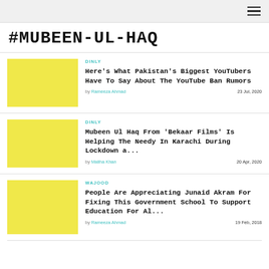#MUBEEN-UL-HAQ
DINLY | Here's What Pakistan's Biggest YouTubers Have To Say About The YouTube Ban Rumors | by Rameeza Ahmad | 23 Jul, 2020
DINLY | Mubeen Ul Haq From 'Bekaar Films' Is Helping The Needy In Karachi During Lockdown a... | by Maliha Khan | 20 Apr, 2020
WAJOOD | People Are Appreciating Junaid Akram For Fixing This Government School To Support Education For Al... | by Rameeza Ahmad | 19 Feb, 2018